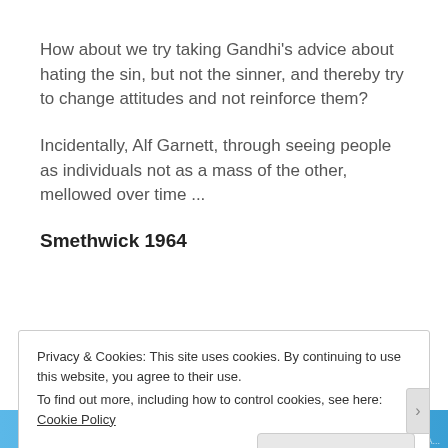How about we try taking Gandhi's advice about hating the sin, but not the sinner, and thereby try to change attitudes and not reinforce them?
Incidentally, Alf Garnett, through seeing people as individuals not as a mass of the other, mellowed over time ...
Smethwick 1964
Privacy & Cookies: This site uses cookies. By continuing to use this website, you agree to their use.
To find out more, including how to control cookies, see here: Cookie Policy